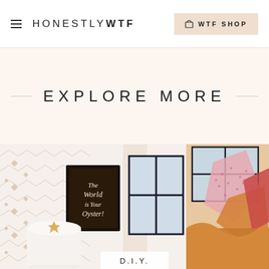REPLY
HONESTLY WTF | WTF SHOP
EXPLORE MORE
[Figure (photo): Left: A room interior with patterned wallpaper featuring geometric/folk motifs, a framed 'The World Is Your Oyster!' sign, and a white cylindrical object with a gold star. Right: Colorful fabric/clothing items in pink floral, orange, and red tones near a window.]
D.I.Y.